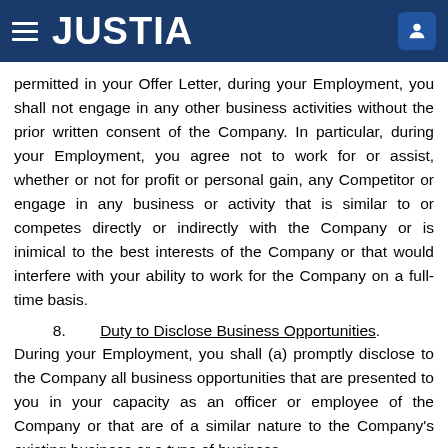JUSTIA
permitted in your Offer Letter, during your Employment, you shall not engage in any other business activities without the prior written consent of the Company. In particular, during your Employment, you agree not to work for or assist, whether or not for profit or personal gain, any Competitor or engage in any business or activity that is similar to or competes directly or indirectly with the Company or is inimical to the best interests of the Company or that would interfere with your ability to work for the Company on a full-time basis.
8.   Duty to Disclose Business Opportunities.
During your Employment, you shall (a) promptly disclose to the Company all business opportunities that are presented to you in your capacity as an officer or employee of the Company or that are of a similar nature to the Company's existing business or a type of business